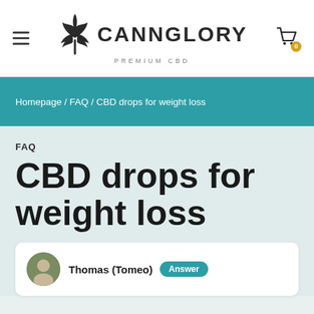CANNGLORY PREMIUM CBD
Homepage / FAQ / CBD drops for weight loss
FAQ
CBD drops for weight loss
Thomas (Tomeo) Answer